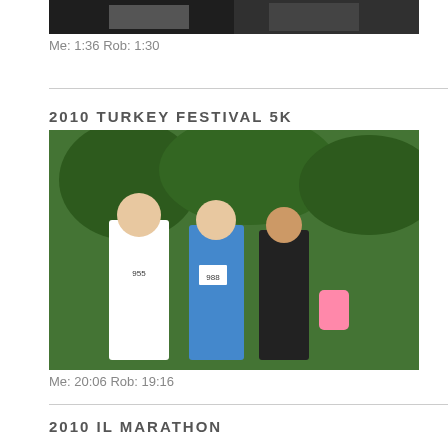[Figure (photo): Two runners at a race event, partial view at top of page]
Me: 1:36 Rob: 1:30
2010 TURKEY FESTIVAL 5K
[Figure (photo): Group of runners posing at Turkey Festival 5K race]
Me: 20:06 Rob: 19:16
2010 IL MARATHON
[Figure (photo): Runner with bib number 1042 during Illinois Marathon race]